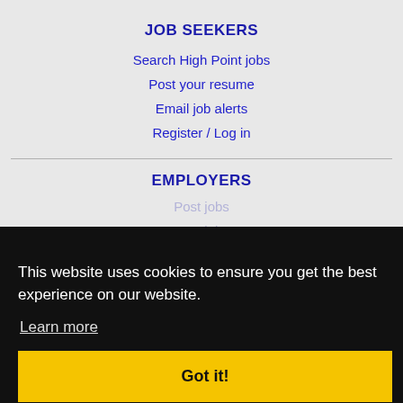JOB SEEKERS
Search High Point jobs
Post your resume
Email job alerts
Register / Log in
EMPLOYERS
Post jobs (faded, partially obscured)
This website uses cookies to ensure you get the best experience on our website.
Learn more
Got it!
IMMIGRATION SPECIALISTS
Post jobs